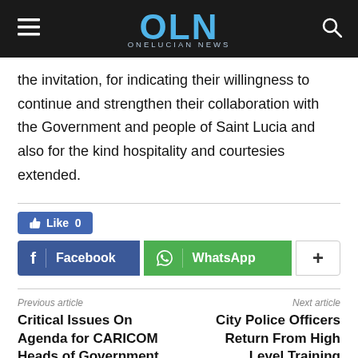OLN ONELUCIAN NEWS
the invitation, for indicating their willingness to continue and strengthen their collaboration with the Government and people of Saint Lucia and also for the kind hospitality and courtesies extended.
Like 0
Facebook | WhatsApp | +
Previous article
Critical Issues On Agenda for CARICOM Heads of Government Meeting
Next article
City Police Officers Return From High Level Training